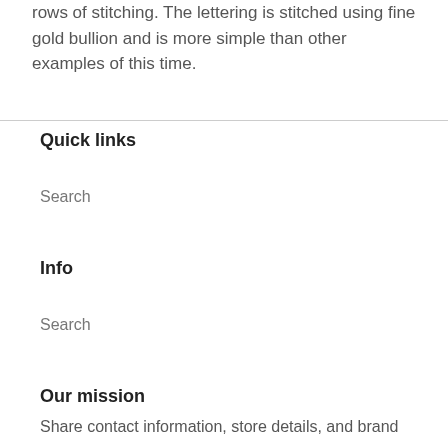rows of stitching. The lettering is stitched using fine gold bullion and is more simple than other examples of this time.
Quick links
Search
Info
Search
Our mission
Share contact information, store details, and brand